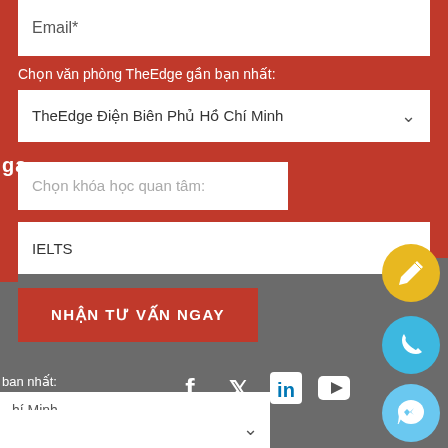Email*
Chọn văn phòng TheEdge gần bạn nhất:
TheEdge Điện Biên Phủ Hồ Chí Minh
ga
Chọn khóa học quan tâm:
IELTS
NHẬN TƯ VẤN NGAY
ban nhất:
hí Minh